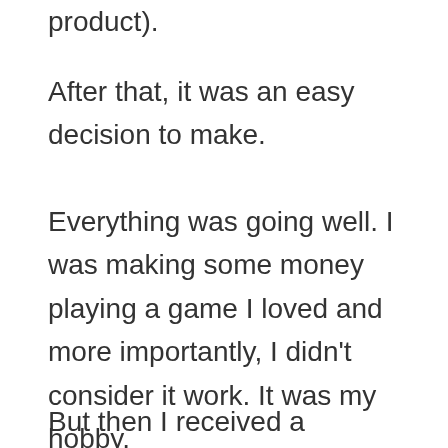product).
After that, it was an easy decision to make.
Everything was going well. I was making some money playing a game I loved and more importantly, I didn’t consider it work. It was my hobby.
But then I received a message from...